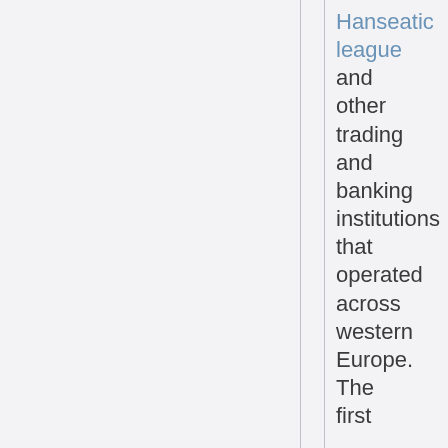Hanseatic league and other trading and banking institutions that operated across western Europe. The first